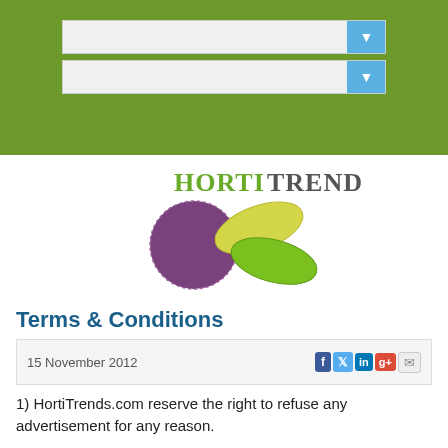[Figure (screenshot): Green navigation bar with two dropdown selectors]
[Figure (logo): HortiTrends logo with purple circle and yellow/green leaf shapes]
Terms & Conditions
15 November 2012
1) HortiTrends.com reserve the right to refuse any advertisement for any reason.
2) HortiTrends.com take absolutely no responsibility for the content of any advertisement placed on the website. Advertisement content is supplied wholly by the advertiser. We recommend that applicants verify all information